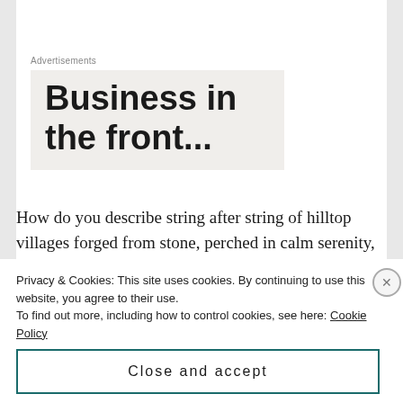Advertisements
Business in the front...
How do you describe string after string of hilltop villages forged from stone, perched in calm serenity, wrapped in rose bushes so delightful even the sunflowers dance in appreciation? How can you
Privacy & Cookies: This site uses cookies. By continuing to use this website, you agree to their use.
To find out more, including how to control cookies, see here: Cookie Policy
Close and accept